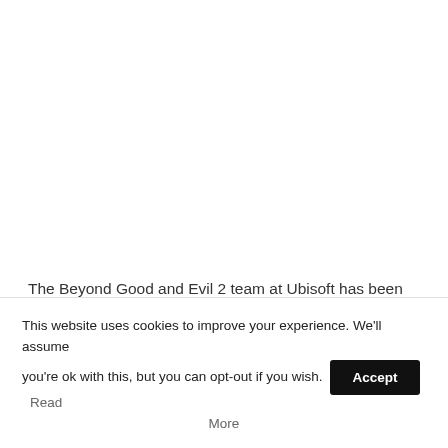The Beyond Good and Evil 2 team at Ubisoft has been
This website uses cookies to improve your experience. We'll assume you're ok with this, but you can opt-out if you wish. Accept Read More